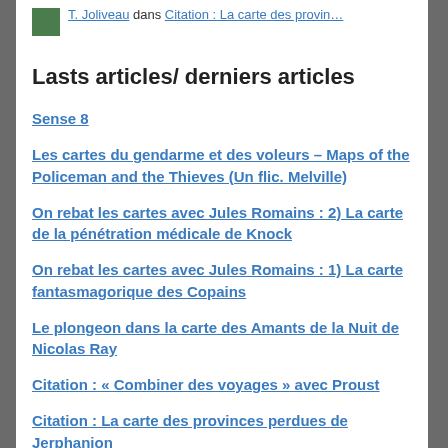T. Joliveau dans Citation : La carte des provin…
Lasts articles/ derniers articles
Sense 8
Les cartes du gendarme et des voleurs – Maps of the Policeman and the Thieves (Un flic. Melville)
On rebat les cartes avec Jules Romains : 2) La carte de la pénétration médicale de Knock
On rebat les cartes avec Jules Romains : 1) La carte fantasmagorique des Copains
Le plongeon dans la carte des Amants de la Nuit de Nicolas Ray
Citation : « Combiner des voyages » avec Proust
Citation : La carte des provinces perdues de Jerphanion